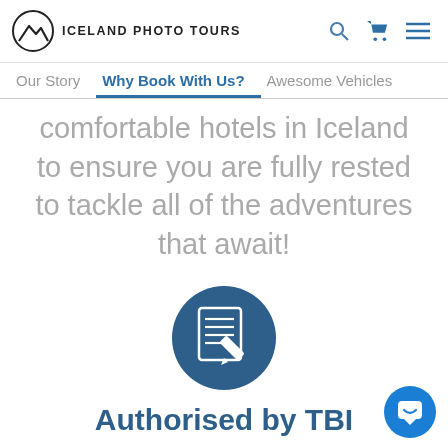ICELAND PHOTO TOURS
Our Story | Why Book With Us? | Awesome Vehicles
comfortable hotels in Iceland to ensure you are fully rested to tackle all of the adventures that await!
[Figure (illustration): Dark blue circle icon containing a document/notepad with a pen/pencil overlay]
Authorised by TBI
Iceland Photo Tours is a local professional tour operator and